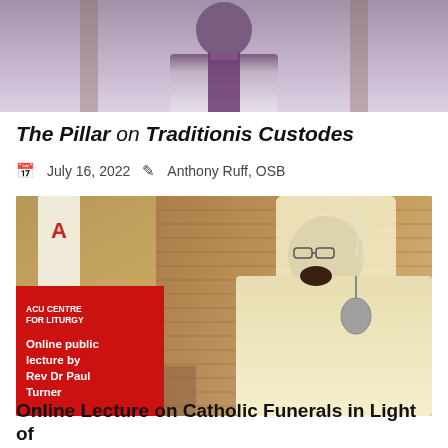[Figure (photo): Top partial photo of a priest or religious figure in purple and white liturgical vestments, partially cropped at top of page]
The Pillar on Traditionis Custodes
July 16, 2022   Anthony Ruff, OSB
[Figure (photo): Photo of a Black priest in cream/gold vestments holding an incense thurible at the altar of a brick church. A red promotional card overlay in the lower left reads: ACU CENTRE FOR LITURGY / Online public lecture by Rev Dr Paul Turner]
Online Lecture on Catholic Funerals in Light of